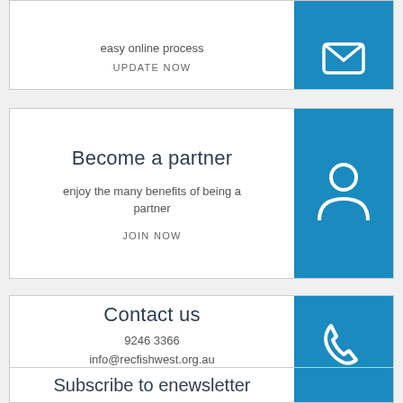easy online process
UPDATE NOW
Become a partner
enjoy the many benefits of being a partner
JOIN NOW
Contact us
9246 3366
info@recfishwest.org.au
MORE INFO
Subscribe to enewsletter